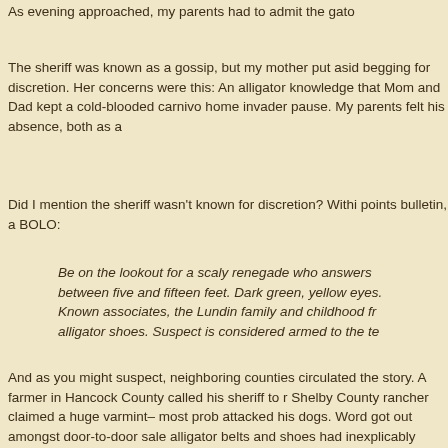As evening approached, my parents had to admit the gato
The sheriff was known as a gossip, but my mother put asid begging for discretion. Her concerns were this: An alligator knowledge that Mom and Dad kept a cold-blooded carnivo home invader pause. My parents felt his absence, both as a
Did I mention the sheriff wasn't known for discretion? Withi points bulletin, a BOLO:
Be on the lookout for a scaly renegade who answers between five and fifteen feet. Dark green, yellow eyes. Known associates, the Lundin family and childhood fr alligator shoes. Suspect is considered armed to the te
And as you might suspect, neighboring counties circulated the story. A farmer in Hancock County called his sheriff to r Shelby County rancher claimed a huge varmint– most prob attacked his dogs. Word got out amongst door-to-door sale alligator belts and shoes had inexplicably disappeared with bringing in a professional tracker and hired gunslingers.